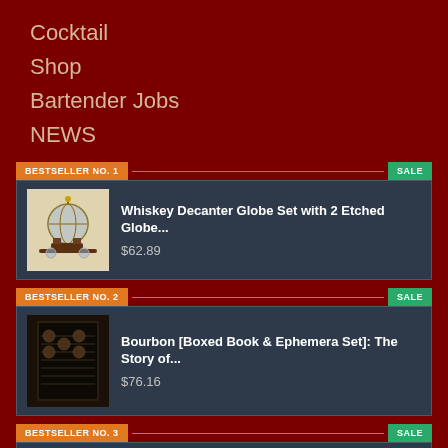Cocktail
Shop
Bartender Jobs
NEWS
BESTSELLER NO. 1
SALE
Whiskey Decanter Globe Set with 2 Etched Globe... $62.89
BESTSELLER NO. 2
SALE
Bourbon [Boxed Book & Ephemera Set]: The Story of... $76.16
BESTSELLER NO. 3
SALE
Whiskey Glasses-Premium 11 OZ Scotch Glasses Set...